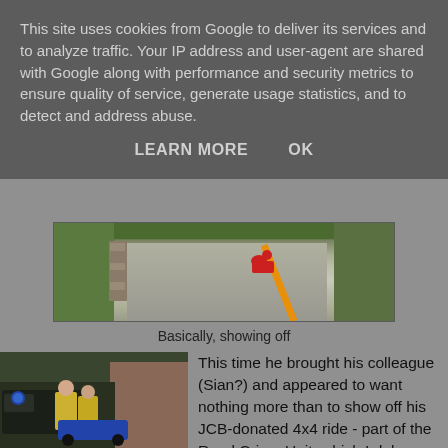This site uses cookies from Google to deliver its services and to analyze traffic. Your IP address and user-agent are shared with Google along with performance and security metrics to ensure quality of service, generate usage statistics, and to detect and address abuse.
LEARN MORE    OK
[Figure (photo): A person in a red jacket lying on a rural road with a stone wall on the left, green hedges in background, and an orange painted line on the road surface.]
Basically, showing off
[Figure (photo): Two police officers in high-visibility yellow jackets standing next to a police-branded 4x4 ATV vehicle. Brick building and trees in background.]
This time he brought his colleague (Sian?) and appeared to want nothing more than to show off his JCB-donated 4x4 ride - part of the Rural Crime Unit, which I duly laughed at. I asked if they got